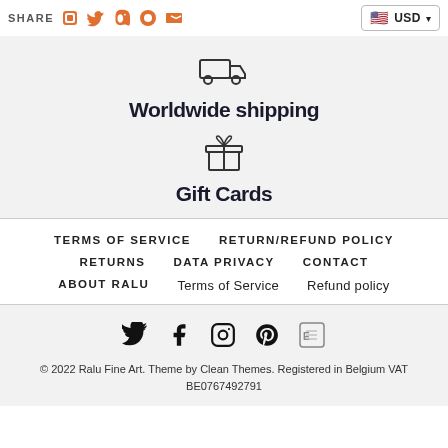SHARE  [social icons]  USD
[Figure (illustration): Truck/delivery icon above Worldwide shipping text]
Worldwide shipping
[Figure (illustration): Gift box icon above Gift Cards text]
Gift Cards
TERMS OF SERVICE
RETURN/REFUND POLICY
RETURNS
DATA PRIVACY
CONTACT
ABOUT RALU
Terms of Service
Refund policy
[Figure (illustration): Social media icons: Twitter, Facebook, Instagram, Pinterest, Etsy]
© 2022 Ralu Fine Art. Theme by Clean Themes. Registered in Belgium VAT
BE0767492791